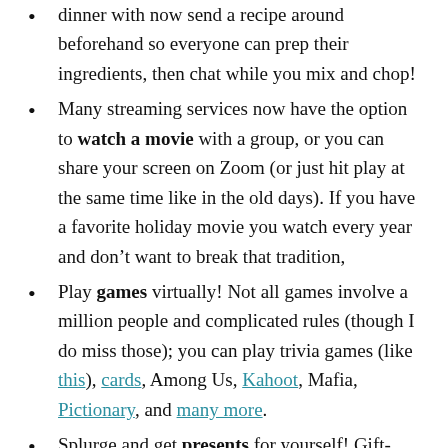dinner with now send a recipe around beforehand so everyone can prep their ingredients, then chat while you mix and chop!
Many streaming services now have the option to watch a movie with a group, or you can share your screen on Zoom (or just hit play at the same time like in the old days). If you have a favorite holiday movie you watch every year and don't want to break that tradition,
Play games virtually! Not all games involve a million people and complicated rules (though I do miss those); you can play trivia games (like this), cards, Among Us, Kahoot, Mafia, Pictionary, and many more.
Splurge and get presents for yourself! Gift-giving (and getting) is one of my favorite parts about the